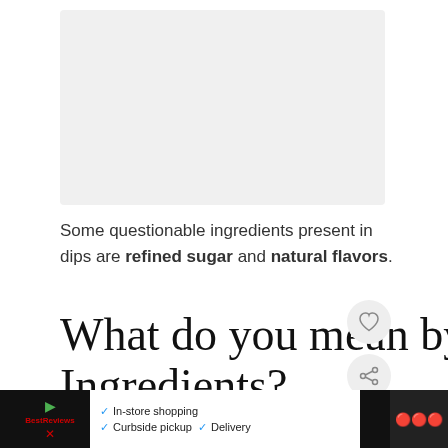[Figure (screenshot): Gray placeholder image box at the top of the page]
Some questionable ingredients present in dips are refined sugar and natural flavors.
What do you mean by Questionable Ingredients?
[Figure (screenshot): Mobile UI sidebar with heart/like button and share button, plus a 'WHAT'S NEXT' card showing 'Is Ghirardelli Dark...']
[Figure (screenshot): Ad banner at the bottom: In-store shopping, Curbside pickup, Delivery with icons]